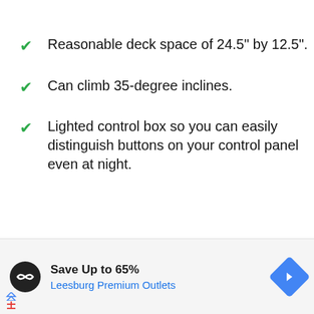Reasonable deck space of 24.5" by 12.5".
Can climb 35-degree inclines.
Lighted control box so you can easily distinguish buttons on your control panel even at night.
[Figure (infographic): Advertisement banner: Save Up to 65% at Leesburg Premium Outlets, with logo and navigation arrow icon]